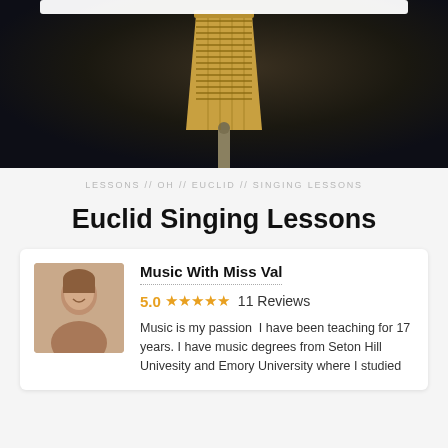[Figure (photo): Dark background photo showing a vintage/retro golden microphone in close-up view, with dark blurred background]
LESSONS // OH // EUCLID // SINGING LESSONS
Euclid Singing Lessons
Music With Miss Val
5.0 ★★★★★ 11 Reviews
Music is my passion  I have been teaching for 17 years. I have music degrees from Seton Hill Univesity and Emory University where I studied